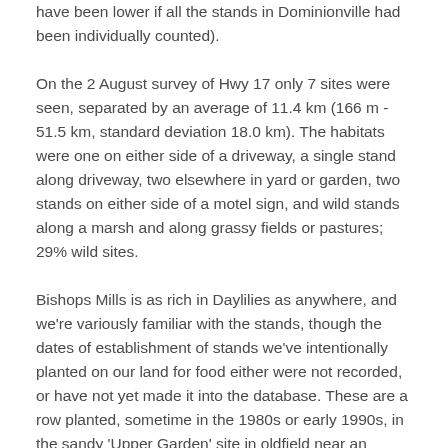have been lower if all the stands in Dominionville had been individually counted).
On the 2 August survey of Hwy 17 only 7 sites were seen, separated by an average of 11.4 km (166 m - 51.5 km, standard deviation 18.0 km). The habitats were one on either side of a driveway, a single stand along driveway, two elsewhere in yard or garden, two stands on either side of a motel sign, and wild stands along a marsh and along grassy fields or pastures; 29% wild sites.
Bishops Mills is as rich in Daylilies as anywhere, and we're variously familiar with the stands, though the dates of establishment of stands we've intentionally planted on our land for food either were not recorded, or have not yet made it into the database. These are a row planted, sometime in the 1980s or early 1990s, in the sandy 'Upper Garden' site in oldfield near an Aspen plantation, which is now a 3 x 12 metre patch, and a stand in a grassy patch of shallow-soil oldfield being overgrown by Grape vines and shrubs, that was planted sometime in the early 2000s,